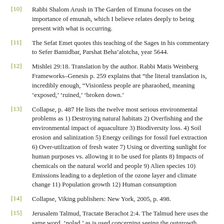[10]  Rabbi Shalom Arush in The Garden of Emuna focuses on the importance of emunah, which I believe relates deeply to being present with what is occurring.
[11]  The Sefat Emet quotes this teaching of the Sages in his commentary to Sefer Bamidbar, Parshat Beha’alotcha, year 5644.
[12]  Mishlei 29:18. Translation by the author. Rabbi Matis Weinberg Frameworks–Genesis p. 259 explains that “the literal translation is, incredibly enough, “Visionless people are pharaohed, meaning ‘exposed,’ ‘ruined,’ ‘broken down.’
[13]  Collapse, p. 487 He lists the twelve most serious environmental problems as 1) Destroying natural habitats 2) Overfishing and the environmental impact of aquaculture 3) Biodiversity loss. 4) Soil erosion and salinization 5) Energy ceilings for fossil fuel extraction 6) Over-utilization of fresh water 7) Using or diverting sunlight for human purposes vs. allowing it to be used for plants 8) Impacts of chemicals on the natural world and people 9) Alien species 10) Emissions leading to a depletion of the ozone layer and climate change 11) Population growth 12) Human consumption
[14]  Collapse, Viking publishers: New York, 2005, p. 498.
[15]  Jerusalem Talmud, Tractate Berachot 2:4. The Talmud here uses the same word, ‘nolad,’ as is used concerning seeing the outgrowth (‘nolad’) of one’s actions.
[16]  This is taught in a number of Chasidic texts.